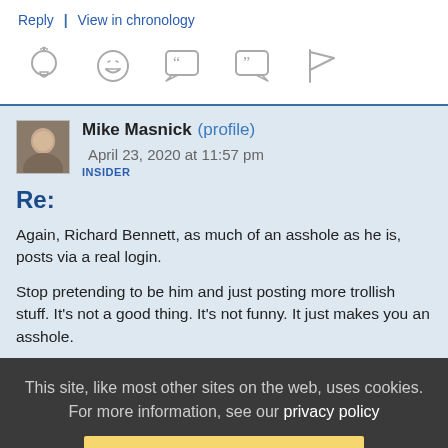Reply | View in chronology
[Figure (infographic): Row of five icon buttons: lightbulb (insight), laughing emoji, open-quote speech bubble, close-quote speech bubble, flag]
Mike Masnick (profile)  April 23, 2020 at 11:57 pm
INSIDER
Re:
Again, Richard Bennett, as much of an asshole as he is, posts via a real login.

Stop pretending to be him and just posting more trollish stuff. It's not a good thing. It's not funny. It just makes you an asshole.
This site, like most other sites on the web, uses cookies. For more information, see our privacy policy
GOT IT